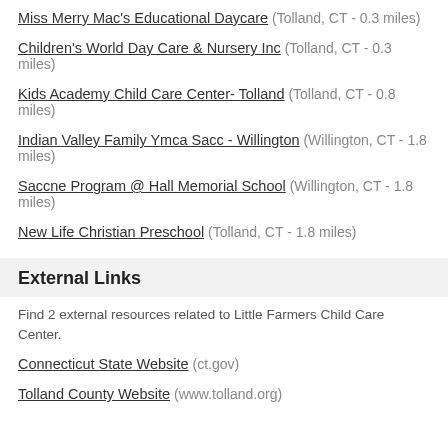Miss Merry Mac's Educational Daycare (Tolland, CT - 0.3 miles)
Children's World Day Care & Nursery Inc (Tolland, CT - 0.3 miles)
Kids Academy Child Care Center- Tolland (Tolland, CT - 0.8 miles)
Indian Valley Family Ymca Sacc - Willington (Willington, CT - 1.8 miles)
Saccne Program @ Hall Memorial School (Willington, CT - 1.8 miles)
New Life Christian Preschool (Tolland, CT - 1.8 miles)
External Links
Find 2 external resources related to Little Farmers Child Care Center.
Connecticut State Website (ct.gov)
Tolland County Website (www.tolland.org)